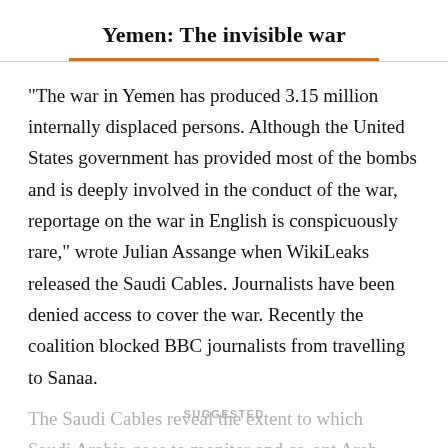Yemen: The invisible war
“The war in Yemen has produced 3.15 million internally displaced persons. Although the United States government has provided most of the bombs and is deeply involved in the conduct of the war, reportage on the war in English is conspicuously rare,” wrote Julian Assange when WikiLeaks released the Saudi Cables. Journalists have been denied access to cover the war. Recently the coalition blocked BBC journalists from travelling to Sanaa.
The Saudi Cables reveal the extent to which Saudi Arabia goes to monitor and co-opt Arab